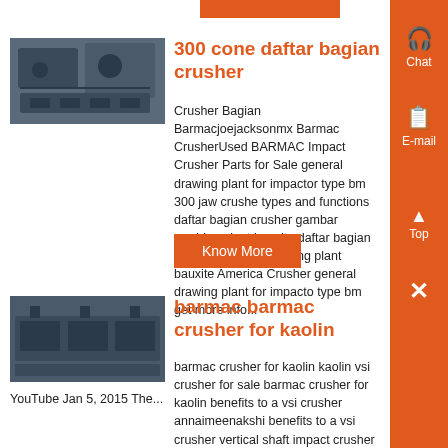[Figure (other): Orange bar at top of page, partial UI element]
[Figure (photo): Thumbnail photo of industrial crusher machinery]
300 cone daftar bagian crusher
Crusher Bagian Barmacjoejacksonmx Barmac CrusherUsed BARMAC Impact Crusher Parts for Sale general drawing plant for impactor type bm 300 jaw crusher types and functions daftar bagian crusher gambar washing plant bauxite daftar bagian crusher gambar washing plant bauxite America Crusher general drawing plant for impactor type bm get more info...
Know More
[Figure (photo): Thumbnail photo of industrial barmac crusher machinery]
barmac barmac crusher for kaolin
barmac crusher for kaolin kaolin vsi crusher for sale barmac crusher for kaolin benefits to a vsi crusher annaimeenakshi benefits to a vsi crusher vertical shaft impact crusher advantages YouTube Aug 2, 2014 breaker is a new type highly efficient crushing machine with the advantages of Vertical Shaft Impact vsi crusher for rock YouTube Jan 5, 2015 The...